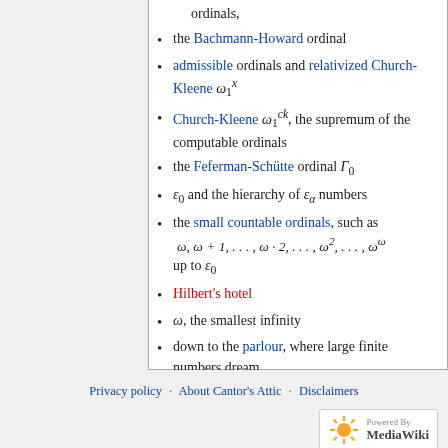ordinals,
the Bachmann-Howard ordinal
admissible ordinals and relativized Church-Kleene ω₁ˣ
Church-Kleene ω₁^ck, the supremum of the computable ordinals
the Feferman-Schütte ordinal Γ₀
ε₀ and the hierarchy of εα numbers
the small countable ordinals, such as ω, ω+1, …, ω·2, …, ω², …, ω^ω up to ε₀
Hilbert's hotel
ω, the smallest infinity
down to the parlour, where large finite numbers dream
Privacy policy | About Cantor's Attic | Disclaimers